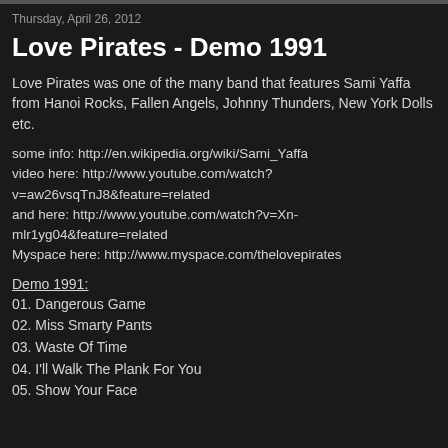Thursday, April 26, 2012
Love Pirates - Demo 1991
Love Pirates was one of the many band that features Sami Yaffa from Hanoi Rocks, Fallen Angels, Johnny Thunders, New York Dolls etc.
some info: http://en.wikipedia.org/wiki/Sami_Yaffa
video here: http://www.youtube.com/watch?v=aw26vsqTnJ8&feature=related
and here: http://www.youtube.com/watch?v=Xn-mlr1yg04&feature=related
Myspace here: http://www.myspace.com/thelovepirates
Demo 1991:
01. Dangerous Game
02. Miss Smarty Pants
03. Waste Of Time
04. I'll Walk The Plank For You
05. Show Your Face